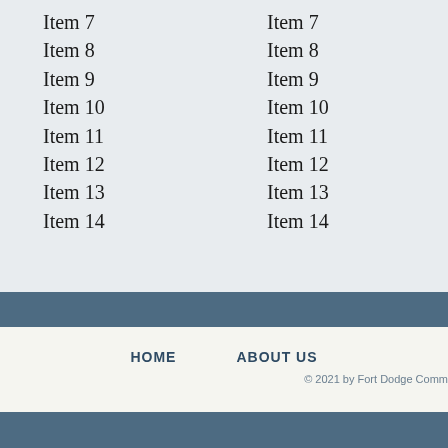Item 7
Item 8
Item 9
Item 10
Item 11
Item 12
Item 13
Item 14
Item 7
Item 8
Item 9
Item 10
Item 11
Item 12
Item 13
Item 14
HOME   ABOUT US   © 2021 by Fort Dodge Comm